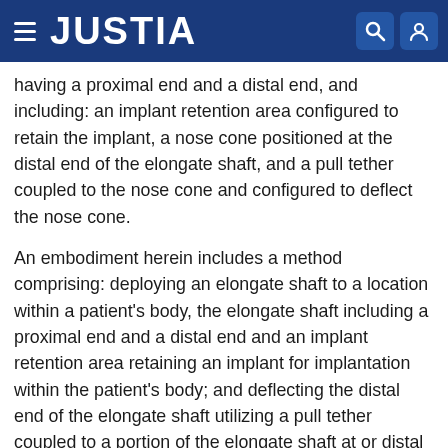JUSTIA
having a proximal end and a distal end, and including: an implant retention area configured to retain the implant, a nose cone positioned at the distal end of the elongate shaft, and a pull tether coupled to the nose cone and configured to deflect the nose cone.
An embodiment herein includes a method comprising: deploying an elongate shaft to a location within a patient's body, the elongate shaft including a proximal end and a distal end and an implant retention area retaining an implant for implantation within the patient's body; and deflecting the distal end of the elongate shaft utilizing a pull tether coupled to a portion of the elongate shaft at or distal the implant retention area.
An embodiment herein includes a delivery system for